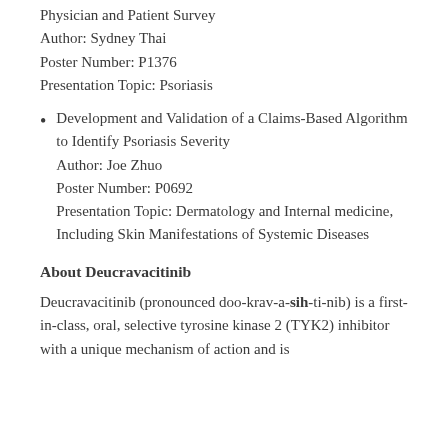Physician and Patient Survey
Author: Sydney Thai
Poster Number: P1376
Presentation Topic: Psoriasis
Development and Validation of a Claims-Based Algorithm to Identify Psoriasis Severity
Author: Joe Zhuo
Poster Number: P0692
Presentation Topic: Dermatology and Internal medicine, Including Skin Manifestations of Systemic Diseases
About Deucravacitinib
Deucravacitinib (pronounced doo-krav-a-sih-ti-nib) is a first-in-class, oral, selective tyrosine kinase 2 (TYK2) inhibitor with a unique mechanism of action and is